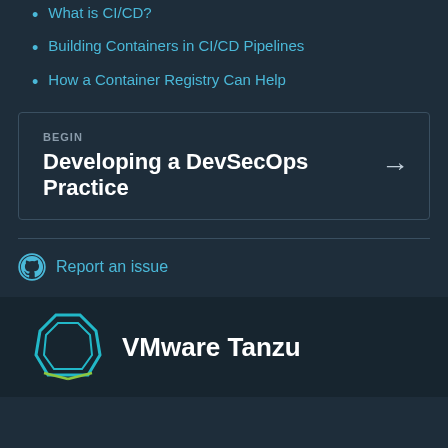What is CI/CD?
Building Containers in CI/CD Pipelines
How a Container Registry Can Help
BEGIN
Developing a DevSecOps Practice →
Report an issue
VMware Tanzu